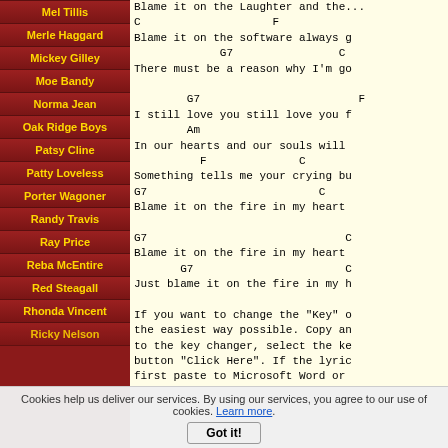Mel Tillis
Merle Haggard
Mickey Gilley
Moe Bandy
Norma Jean
Oak Ridge Boys
Patsy Cline
Patty Loveless
Porter Wagoner
Randy Travis
Ray Price
Reba McEntire
Red Steagall
Rhonda Vincent
Ricky Nelson
Blame it on the Laughter and the...
C                    F
Blame it on the software always g...
             G7                C
There must be a reason why I'm go...

        G7                        F
I still love you still love you f...
        Am
In our hearts and our souls will...
          F              C
Something tells me your crying bu...
G7                          C
Blame it on the fire in my heart...

G7                              C
Blame it on the fire in my heart...
       G7                       C
Just blame it on the fire in my h...

If you want to change the "Key" o...
the easiest way possible. Copy an...
to the key changer, select the ke...
button "Click Here". If the lyric...
first paste to Microsoft Word or...
Cookies help us deliver our services. By using our services, you agree to our use of cookies. Learn more.
Got it!